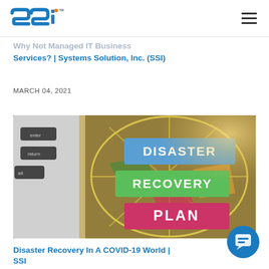SSI — Systems Solution, Inc.
Services? | Systems Solution, Inc. (SSI)
MARCH 04, 2021
[Figure (photo): Disaster Recovery Plan — sticky notes on a dark globe/map surface next to a laptop keyboard. Blue note: DISASTER, green note: RECOVERY, pink note: PLAN.]
Disaster Recovery In A COVID-19 World | SSI